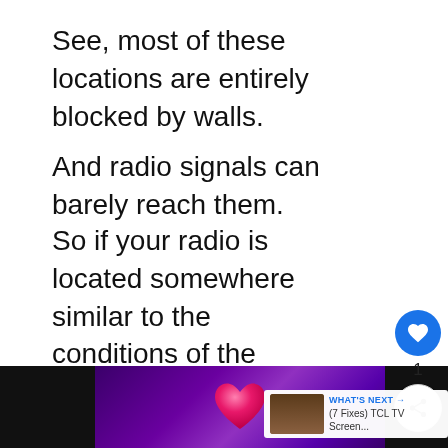See, most of these locations are entirely blocked by walls.
And radio signals can barely reach them.
So if your radio is located somewhere similar to the conditions of the places mentioned...
You should try placing it elsewhere
“Where should I put my DAB radio?”
[Figure (screenshot): Bottom media player bar with purple/pink heart graphic on dark background, and a logo area on the right]